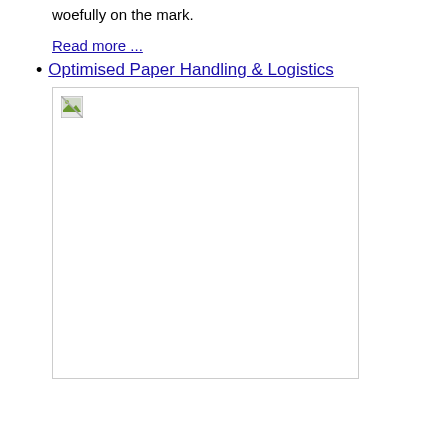woefully on the mark.
Read more ...
Optimised Paper Handling & Logistics
[Figure (photo): A placeholder image with broken image icon, representing an image related to Optimised Paper Handling & Logistics]